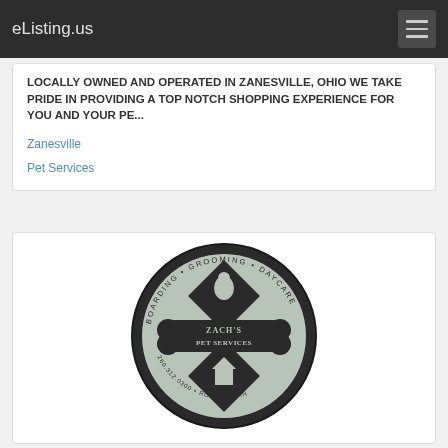eListing.us
LOCALLY OWNED AND OPERATED IN ZANESVILLE, OHIO WE TAKE PRIDE IN PROVIDING A TOP NOTCH SHOPPING EXPERIENCE FOR YOU AND YOUR PE...
Zanesville
Pet Services
[Figure (logo): Zach's Pet Services circular logo with boarding, grooming, daycare text and dog bone design. Address: 260.312.0300, Roanoke, IN]